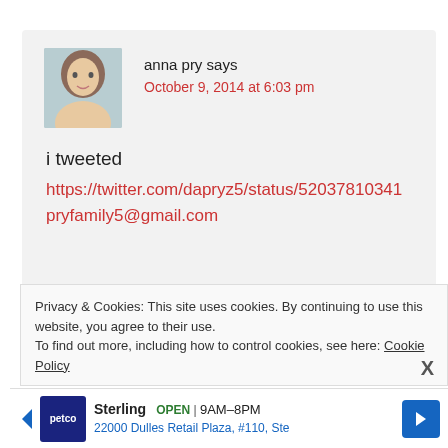anna pry says
October 9, 2014 at 6:03 pm
i tweeted
https://twitter.com/dapryz5/status/52037810341
pryfamily5@gmail.com
Privacy & Cookies: This site uses cookies. By continuing to use this website, you agree to their use. To find out more, including how to control cookies, see here: Cookie Policy
[Figure (infographic): Advertisement banner for Petco Sterling store showing logo, open hours 9AM-8PM, and address 22000 Dulles Retail Plaza, #110, Ste]